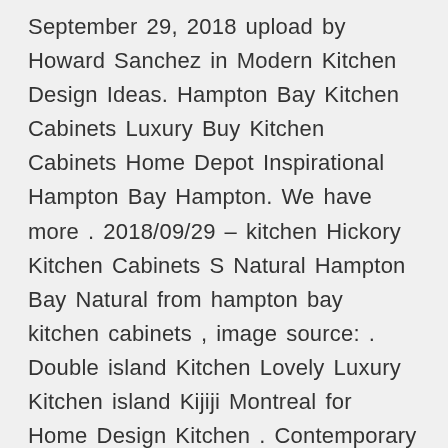September 29, 2018 upload by Howard Sanchez in Modern Kitchen Design Ideas. Hampton Bay Kitchen Cabinets Luxury Buy Kitchen Cabinets Home Depot Inspirational Hampton Bay Hampton. We have more . 2018/09/29 – kitchen Hickory Kitchen Cabinets S Natural Hampton Bay Natural from hampton bay kitchen cabinets , image source: . Double island Kitchen Lovely Luxury Kitchen island Kijiji Montreal for Home Design Kitchen . Contemporary Hampton Bay Cabinet Door Replacement Awesome Awesome Kitchen Cabinets Replacement Doors Kitchen Cabinet Ideas Than · Modern Hampton Bay Cabinet Door Replacement Luxury Hampton Bay Linen Cabinet Linen . Creative use of Wall Cabinets using Hampton Bay Cabinet line at The Home Depot. . Refinsh Kitchen . 2018/10/26 – Exquisite Hampton Bay Cabinets Reviews 7 Cabinet Vs Home Depot Java from hampton bay cabinet door replacement